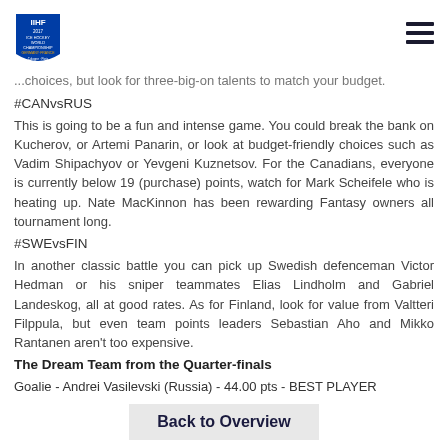IIHF 2017 Ice Hockey World Championship Germany-France Cologne-Paris
...choices, but look for three-big-on talents to match your budget.
#CANvsRUS
This is going to be a fun and intense game. You could break the bank on Kucherov, or Artemi Panarin, or look at budget-friendly choices such as Vadim Shipachyov or Yevgeni Kuznetsov. For the Canadians, everyone is currently below 19 (purchase) points, watch for Mark Scheifele who is heating up. Nate MacKinnon has been rewarding Fantasy owners all tournament long.
#SWEvsFIN
In another classic battle you can pick up Swedish defenceman Victor Hedman or his sniper teammates Elias Lindholm and Gabriel Landeskog, all at good rates. As for Finland, look for value from Valtteri Filppula, but even team points leaders Sebastian Aho and Mikko Rantanen aren't too expensive.
The Dream Team from the Quarter-finals
Goalie - Andrei Vasilevski (Russia) - 44.00 pts - BEST PLAYER
Defenceman - Viktor Antipin (Russia) - 33.00 pts
Defenceman - Dmitri Orlov (Russia) - 30.00 pts
Forward - William Nylander (Sweden) - 36.00 pts
Forward - Nikita Kucherov (Russia) - 30.00 pts
Forward - Jeff Skinner (Canada) - 27.00 pts
Back to Overview